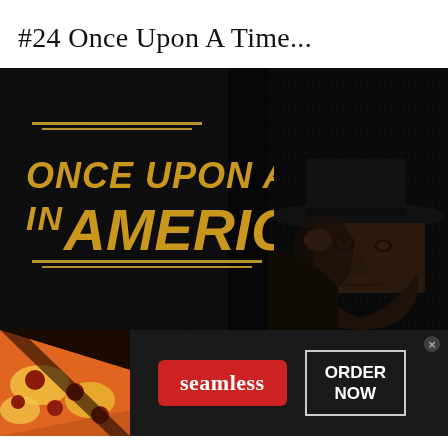#24 Once Upon A Time...
[Figure (photo): Movie poster/banner for 'Once Upon A Time In America' showing golden stylized text on dark background with silhouette of a man wearing a hat and fedora peeking from right side]
[Figure (screenshot): Seamless food delivery advertisement banner with pizza image on left, red Seamless logo button in center, and 'ORDER NOW' button in white border box on right, with close X in top right corner]